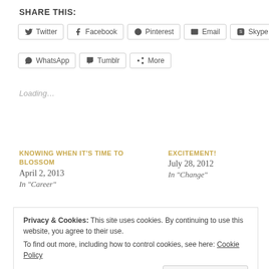SHARE THIS:
Twitter | Facebook | Pinterest | Email | Skype | WhatsApp | Tumblr | More
Loading...
KNOWING WHEN IT'S TIME TO BLOSSOM
April 2, 2013
In "Career"
EXCITEMENT!
July 28, 2012
In "Change"
Privacy & Cookies: This site uses cookies. By continuing to use this website, you agree to their use.
To find out more, including how to control cookies, see here: Cookie Policy
Close and accept